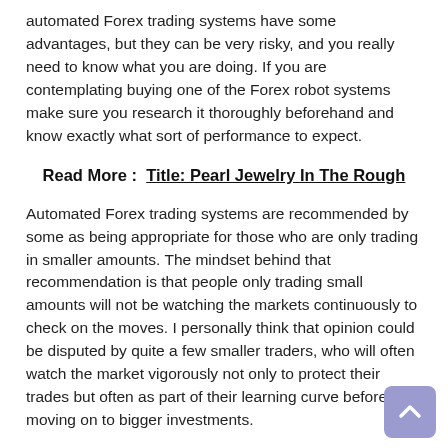automated Forex trading systems have some advantages, but they can be very risky, and you really need to know what you are doing. If you are contemplating buying one of the Forex robot systems make sure you research it thoroughly beforehand and know exactly what sort of performance to expect.
Read More :  Title: Pearl Jewelry In The Rough
Automated Forex trading systems are recommended by some as being appropriate for those who are only trading in smaller amounts. The mindset behind that recommendation is that people only trading small amounts will not be watching the markets continuously to check on the moves. I personally think that opinion could be disputed by quite a few smaller traders, who will often watch the market vigorously not only to protect their trades but often as part of their learning curve before moving on to bigger investments.
Automated Forex trading systems are particularly useful if you are an experienced trader and can actually understand the